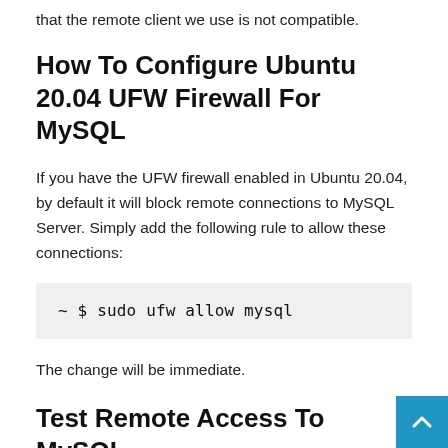that the remote client we use is not compatible.
How To Configure Ubuntu 20.04 UFW Firewall For MySQL
If you have the UFW firewall enabled in Ubuntu 20.04, by default it will block remote connections to MySQL Server. Simply add the following rule to allow these connections:
~ $ sudo ufw allow mysql
The change will be immediate.
Test Remote Access To MySQL
From another network system we can make the connection using a client, such as MySQL, specifying the IP address or